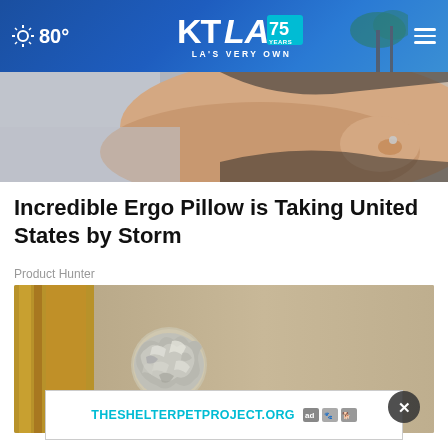80° KTLA 75 YEARS LA'S VERY OWN
[Figure (photo): Partial view of a person lying on a pillow, cropped at the top of the page]
Incredible Ergo Pillow is Taking United States by Storm
Product Hunter
[Figure (photo): Close-up photograph of a door knob wrapped in crumpled aluminum foil, with a golden/bronze door in the background]
THESHELTERPETPROJECT.ORG